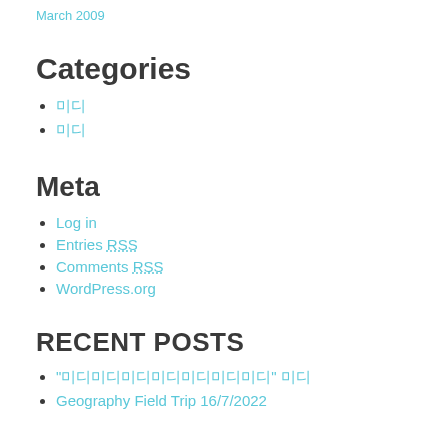March 2009
Categories
미디
미디
Meta
Log in
Entries RSS
Comments RSS
WordPress.org
RECENT POSTS
"미디미디미디미디미디미디미디" 미디
Geography Field Trip 16/7/2022